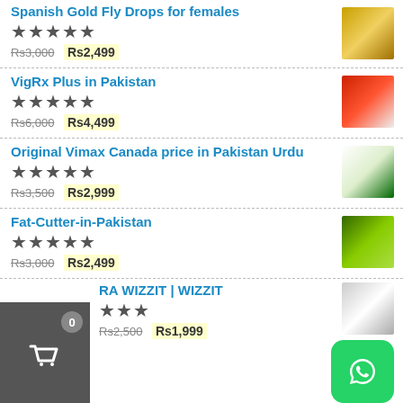Spanish Gold Fly Drops for females
★★★★★  Rs3,000  Rs2,499
VigRx Plus in Pakistan
★★★★★  Rs6,000  Rs4,499
Original Vimax Canada price in Pakistan Urdu
★★★★★  Rs3,500  Rs2,999
Fat-Cutter-in-Pakistan
★★★★★  Rs3,000  Rs2,499
RA WIZZIT | WIZZIT
★★★  Rs2,500  Rs1,999